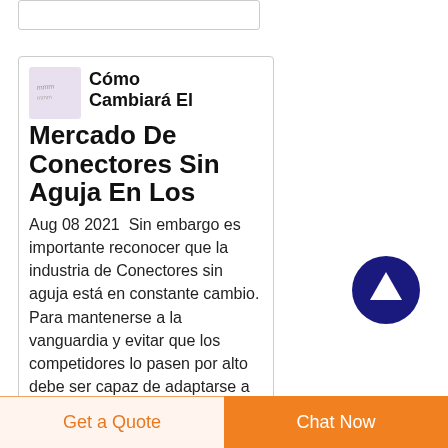[Figure (other): Thumbnail image placeholder with handwritten text]
Cómo Cambiará El Mercado De Conectores Sin Aguja En Los
Aug 08 2021  Sin embargo es importante reconocer que la industria de Conectores sin aguja está en constante cambio. Para mantenerse a la vanguardia y evitar que los competidores lo pasen por alto debe ser capaz de adaptarse a los tiempos en
[Figure (other): Back to top button — dark blue circle with upward arrow]
Get a Quote   Chat Now